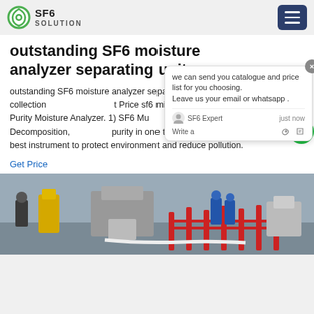SF6 SOLUTION
outstanding SF6 moisture analyzer separating unit
outstanding SF6 moisture analyzer separating unit,Best Price sf6 mixture collection equipment,Best Price sf6 mixture collection CHINTS SF6 Gas Purity Moisture Analyzer. 1) SF6 Multi-functional tester can measure Decomposition, Humidity and purity in one time, it can greatly save time, it is best instrument to protect environment and reduce pollution.
Get Price
[Figure (photo): Workers in blue uniforms and helmets operating equipment outdoors near red barriers and industrial infrastructure]